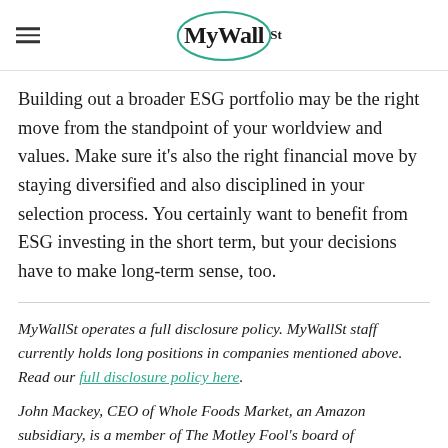MyWallSt
Building out a broader ESG portfolio may be the right move from the standpoint of your worldview and values. Make sure it's also the right financial move by staying diversified and also disciplined in your selection process. You certainly want to benefit from ESG investing in the short term, but your decisions have to make long-term sense, too.
MyWallSt operates a full disclosure policy. MyWallSt staff currently holds long positions in companies mentioned above. Read our full disclosure policy here.
John Mackey, CEO of Whole Foods Market, an Amazon subsidiary, is a member of The Motley Fool's board of